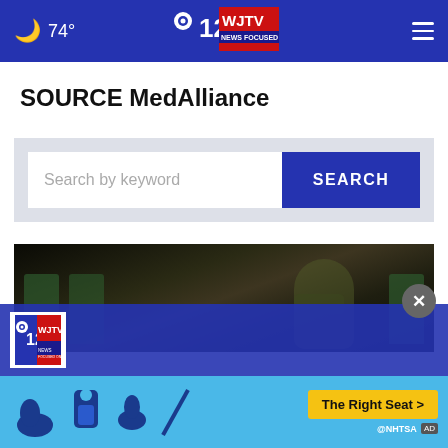74° | WJTV 12 News Focused On You
SOURCE MedAlliance
[Figure (screenshot): Search bar with 'Search by keyword' placeholder and blue SEARCH button, on light grey background]
[Figure (photo): Dark photo showing a person with head in hands seated near green chairs]
WJTV 12 News logo footer with NHTSA advertisement banner - The Right Seat >